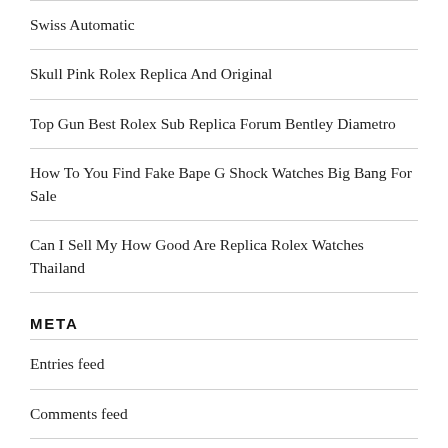Swiss Automatic
Skull Pink Rolex Replica And Original
Top Gun Best Rolex Sub Replica Forum Bentley Diametro
How To You Find Fake Bape G Shock Watches Big Bang For Sale
Can I Sell My How Good Are Replica Rolex Watches Thailand
META
Entries feed
Comments feed
replicawatches.la